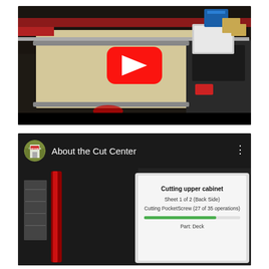[Figure (screenshot): YouTube video thumbnail showing a CNC panel cutting machine (dark background, large flat sheet on machine bed, red YouTube play button overlay in center). Machine has red and black color scheme. View from above/side angle showing industrial cutting equipment in a workshop.]
[Figure (screenshot): YouTube video player showing 'About the Cut Center' with a Thermata channel icon (circular thumbnail showing building/landscaping), three-dot menu icon on right. Below the header is a dark scene showing workshop environment with a monitor screen displaying 'Cutting upper cabinet / Sheet 1 of 2 (Back Side) / Cutting PocketScrew (27 of 35 operations) / [green progress bar] / Part: Deck']